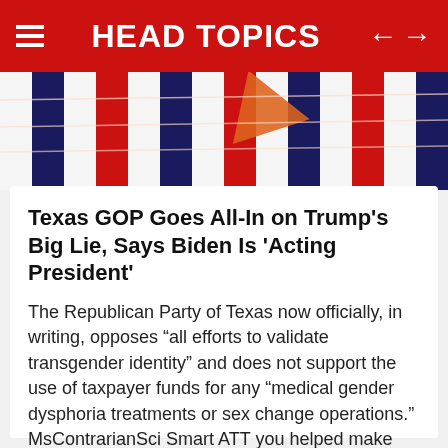HEAD TOPICS
[Figure (photo): Red, white and blue vertical stripes with an orange flag/pennant in the middle, with white wire or string lines crossing horizontally.]
Texas GOP Goes All-In on Trump's Big Lie, Says Biden Is 'Acting President'
The Republican Party of Texas now officially, in writing, opposes “all efforts to validate transgender identity” and does not support the use of taxpayer funds for any “medical gender dysphoria treatments or sex change operations.” MsContrarianSci Smart ATT you helped make this happen.